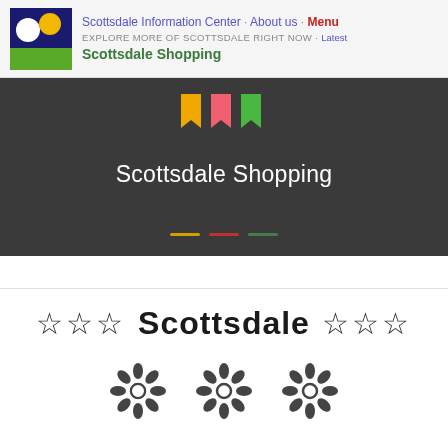Scottsdale Information Center · About us · Menu
EXPLORE MORE OF SCOTTSDALE RIGHT NOW · Latest
Scottsdale Shopping
[Figure (screenshot): Dark hero banner with three colored bookmark flags at top, 'Scottsdale Shopping' title in white, and three colored dashes at bottom]
☆☆☆  Scottsdale  ☆☆☆
[Figure (illustration): Three decorative flower/rosette icons in a row]